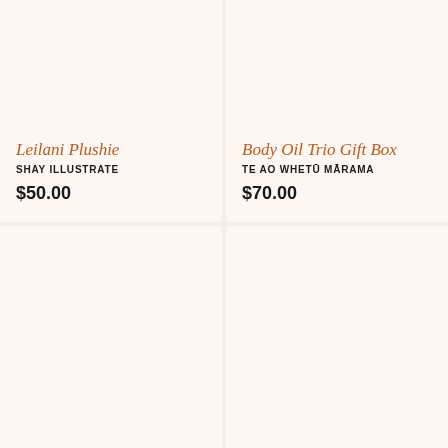[Figure (photo): Product image placeholder for Leilani Plushie - light warm background]
[Figure (photo): Product image placeholder for Body Oil Trio Gift Box - light warm background]
Leilani Plushie
SHAY ILLUSTRATE
$50.00
Body Oil Trio Gift Box
TE AO WHETŪ MĀRAMA
$70.00
[Figure (photo): Empty product card - bottom left]
[Figure (photo): Empty product card - bottom right]